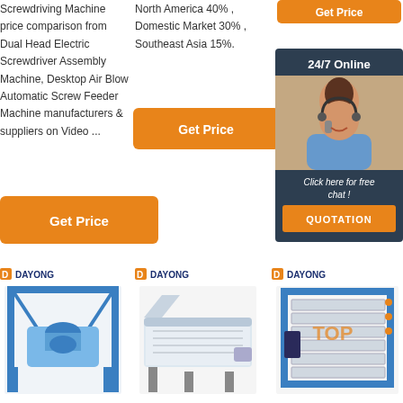Screwdriving Machine price comparison from Dual Head Electric Screwdriver Assembly Machine, Desktop Air Blow Automatic Screw Feeder Machine manufacturers & suppliers on Video ...
North America 40% , Domestic Market 30% , Southeast Asia 15%.
[Figure (other): Orange 'Get Price' button (top right area)]
[Figure (other): Orange 'Get Price' button (middle center)]
[Figure (other): Chat box with '24/7 Online' header, customer service rep photo, 'Click here for free chat!' text, and orange QUOTATION button]
[Figure (other): Orange 'Get Price' button (bottom left)]
[Figure (other): DAYONG logo and industrial vibrating screen machine (blue frame)]
[Figure (other): DAYONG logo and industrial rectangular vibrating machine]
[Figure (other): DAYONG logo and stacked plate/filter machine with TOP label]